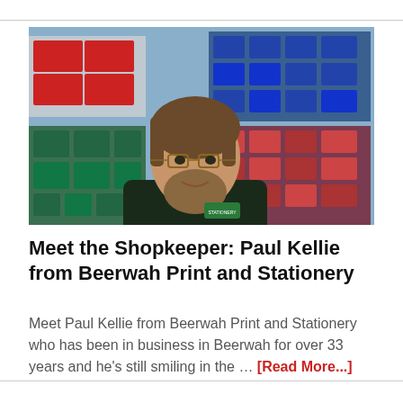[Figure (photo): Man wearing dark polo shirt standing in front of a store shelf filled with printer ink cartridges and stationery products. He has gray-brown hair and a beard, wearing glasses, and smiling at the camera.]
Meet the Shopkeeper: Paul Kellie from Beerwah Print and Stationery
Meet Paul Kellie from Beerwah Print and Stationery who has been in business in Beerwah for over 33 years and he's still smiling in the … [Read More...]